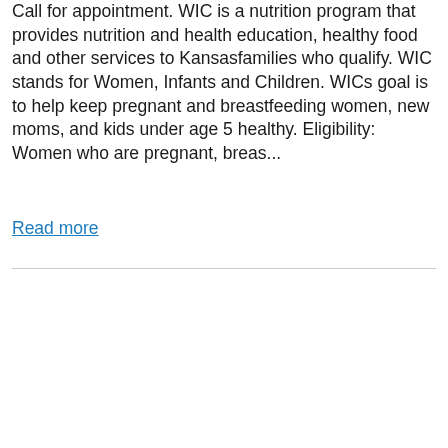Call for appointment. WIC is a nutrition program that provides nutrition and health education, healthy food and other services to Kansasfamilies who qualify. WIC stands for Women, Infants and Children. WICs goal is to help keep pregnant and breastfeeding women, new moms, and kids under age 5 healthy. Eligibility: Women who are pregnant, breas...
Read more